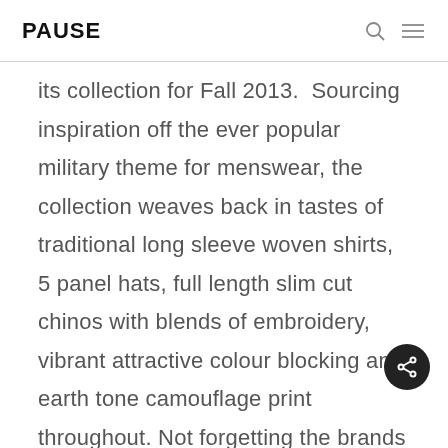PAUSE
its collection for Fall 2013.  Sourcing inspiration off the ever popular military theme for menswear, the collection weaves back in tastes of traditional long sleeve woven shirts, 5 panel hats, full length slim cut chinos with blends of embroidery, vibrant attractive colour blocking and earth tone camouflage print throughout. Not forgetting the brands trademark city pigeon logo over everything.